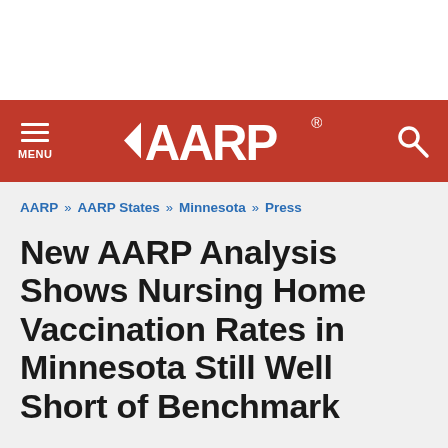AARP navigation bar with MENU, AARP logo, and search icon
AARP » AARP States » Minnesota » Press
New AARP Analysis Shows Nursing Home Vaccination Rates in Minnesota Still Well Short of Benchmark